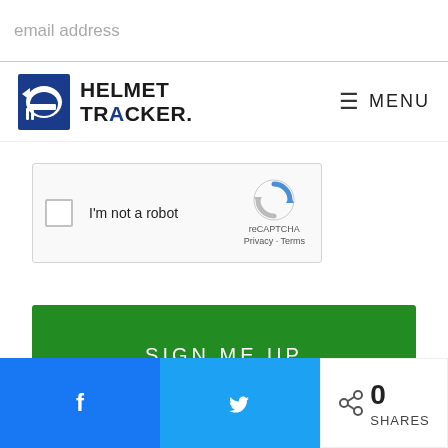[Figure (screenshot): Email address input field placeholder text]
[Figure (logo): Helmet Tracker logo with football helmet icon and text HELMET TRACKER]
≡  MENU
[Figure (other): reCAPTCHA widget with checkbox labeled I'm not a robot, reCAPTCHA logo, Privacy and Terms links]
[Figure (other): SIGN ME UP button, green background]
RECENT ARTICLES
[Figure (other): Facebook share button (blue), Twitter share button (light blue), 0 SHARES counter]